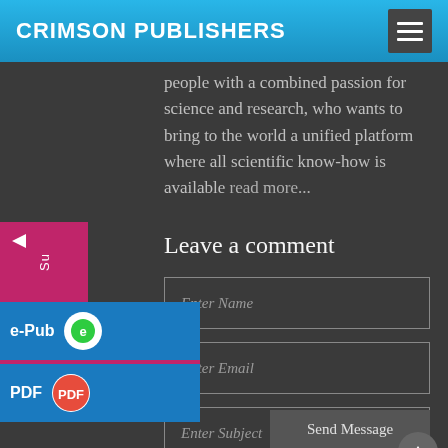CRIMSON PUBLISHERS
people with a combined passion for science and research, who wants to bring to the world a unified platform where all scientific know-how is available read more...
Leave a comment
Enter Name
Enter Email
Enter Subject
Enter Message
Send Message